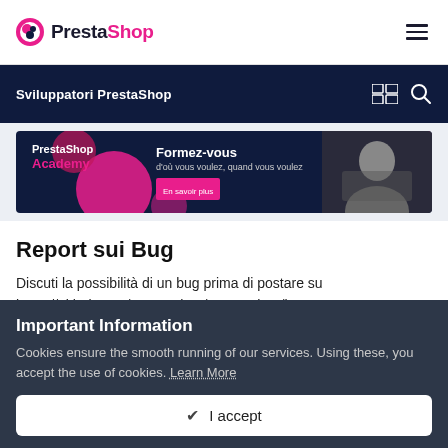PrestaShop — navigation bar with logo and hamburger menu
Sviluppatori PrestaShop
[Figure (illustration): PrestaShop Academy promotional banner — dark navy background with pink circles, text 'PrestaShop Academy', 'Formez-vous d'où vous voulez, quand vous voulez', and a black-and-white photo of a person at a laptop]
Report sui Bug
Discuti la possibilità di un bug prima di postare su https://github.com/PrestaShop/PrestaShop/issues
Important Information
Cookies ensure the smooth running of our services. Using these, you accept the use of cookies. Learn More
✔ I accept